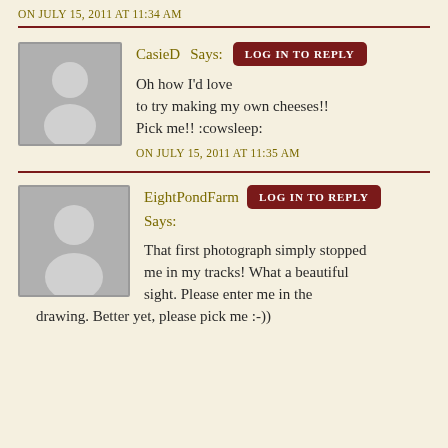ON JULY 15, 2011 AT 11:34 AM
[Figure (illustration): Generic user avatar placeholder — grey background with white silhouette of person]
CasieD Says:
LOG IN TO REPLY
Oh how I'd love to try making my own cheeses!! Pick me!! :cowsleep:
ON JULY 15, 2011 AT 11:35 AM
[Figure (illustration): Generic user avatar placeholder — grey background with white silhouette of person]
EightPondFarm Says:
LOG IN TO REPLY
That first photograph simply stopped me in my tracks! What a beautiful sight. Please enter me in the drawing. Better yet, please pick me :-))